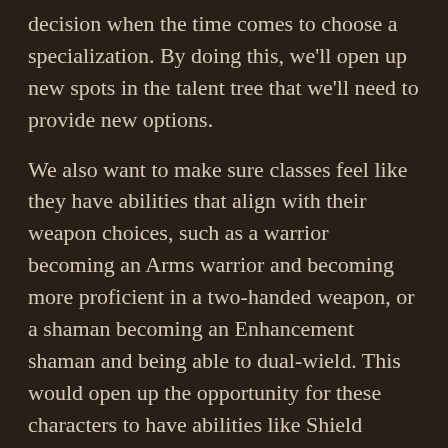decision when the time comes to choose a specialization. By doing this, we'll open up new spots in the talent tree that we'll need to provide new options.
We also want to make sure classes feel like they have abilities that align with their weapon choices, such as a warrior becoming an Arms warrior and becoming more proficient in a two-handed weapon, or a shaman becoming an Enhancement shaman and being able to dual-wield. This would open up the opportunity for these characters to have abilities like Shield Block or Primal Strike as a part of their identity.
Bringing Back Class Abilities
Over the years we've pruned back abilities for one reason or another, sometimes as a way to reduce the